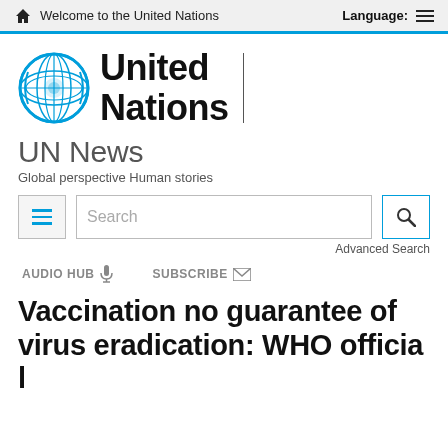Welcome to the United Nations   Language:
[Figure (logo): United Nations emblem logo in blue, with 'United Nations' text beside it]
UN News
Global perspective Human stories
Search   Advanced Search
AUDIO HUB   SUBSCRIBE
Vaccination no guarantee of virus eradication: WHO officials